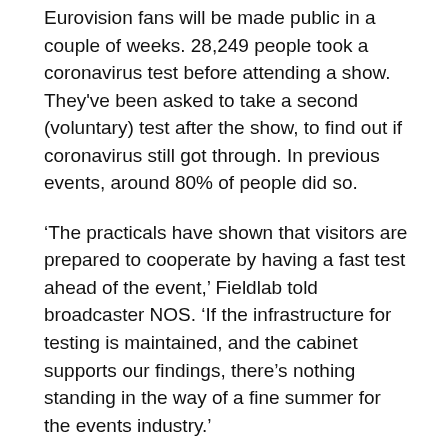Eurovision fans will be made public in a couple of weeks. 28,249 people took a coronavirus test before attending a show. They've been asked to take a second (voluntary) test after the show, to find out if coronavirus still got through. In previous events, around 80% of people did so.
‘The practicals have shown that visitors are prepared to cooperate by having a fast test ahead of the event,’ Fieldlab told broadcaster NOS. ‘If the infrastructure for testing is maintained, and the cabinet supports our findings, there’s nothing standing in the way of a fine summer for the events industry.’
The Dutch government is not expected to further relax most lockdown rules until the end of June, although from June 5, theatres and cinemas may reopen for a limited number of visitors with strict social distancing rules in place.